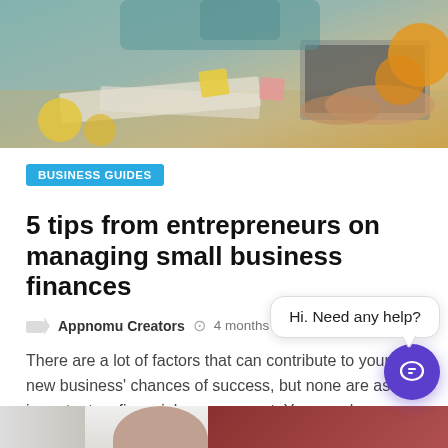[Figure (photo): Person working at a desk with laptop, papers with sticky notes, and fruits visible in the background]
BUSINESS GUIDES
5 tips from entrepreneurs on managing small business finances
Appnomu Creators  4 months ago  68.1k
There are a lot of factors that can contribute to your new business' chances of success, but none are as important as financial management. You may have decided to open a restaurant because you can cook, or a photography studio because you're great behind a camera, but starting a business
[Figure (screenshot): Chat widget popup saying 'Hi. Need any help?' with a purple circular chat button in the bottom right corner]